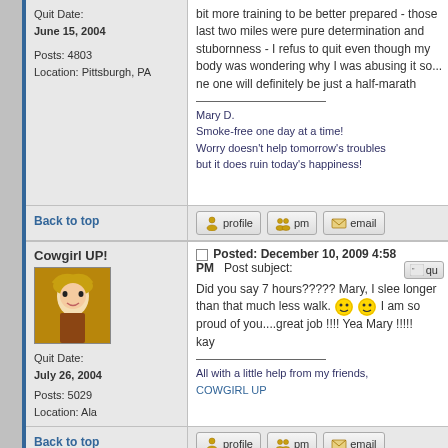Quit Date: June 15, 2004
Posts: 4803
Location: Pittsburgh, PA
bit more training to be better prepared - those last two miles were pure determination and stubornness - I refus to quit even though my body was wondering why I was abusing it so... ne one will definitely be just a half-marath
Mary D.
Smoke-free one day at a time!
Worry doesn't help tomorrow's troubles but it does ruin today's happiness!
Back to top
Back to top
Cowgirl UP!
[Figure (illustration): Avatar image of a cartoon cowgirl character with blonde hair]
Quit Date: July 26, 2004
Posts: 5029
Location: Ala
Posted: December 10, 2009 4:58 PM    Post subject:
Did you say 7 hours????? Mary, I slee longer than that much less walk. I am so proud of you....great job !!!! Yea Mary !!!!!
kay
All with a little help from my friends,
COWGIRL UP
Mary Dude
Posted: December 11, 2009 12:51